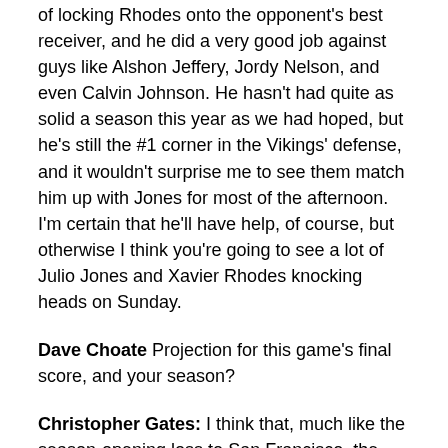of locking Rhodes onto the opponent's best receiver, and he did a very good job against guys like Alshon Jeffery, Jordy Nelson, and even Calvin Johnson. He hasn't had quite as solid a season this year as we had hoped, but he's still the #1 corner in the Vikings' defense, and it wouldn't surprise me to see them match him up with Jones for most of the afternoon. I'm certain that he'll have help, of course, but otherwise I think you're going to see a lot of Julio Jones and Xavier Rhodes knocking heads on Sunday.
Dave Choate Projection for this game's final score, and your season?
Christopher Gates: I think that, much like the season-opening loss to San Francisco, the loss to the Packers last week is going to be a bit of a wake-up call for the Vikings. They may have started to get into their own